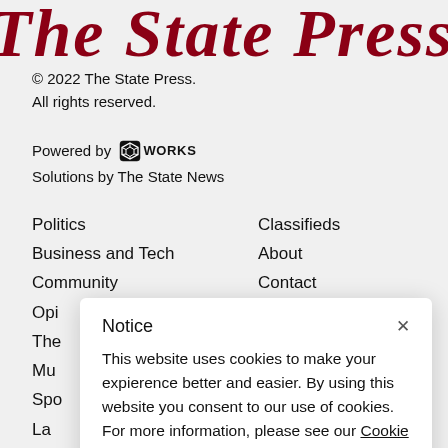[Figure (logo): The State Press newspaper masthead logo in dark red gothic/blackletter font, partially visible at top]
© 2022 The State Press.
All rights reserved.
Powered by [SworksWORKS logo] Solutions by The State News
Politics
Business and Tech
Community
Opi[nion]
The[...]
Mu[...]
Spo[rts]
La[...]
Ma[...]
Classifieds
About
Contact
Notice
This website uses cookies to make your expierence better and easier. By using this website you consent to our use of cookies. For more information, please see our Cookie Policy.